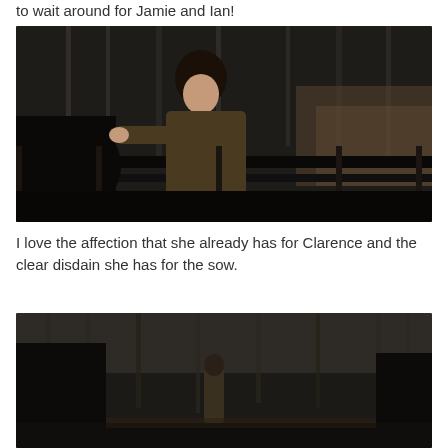to wait around for Jamie and Ian!
[Figure (photo): A woman with dark curly hair in period costume (brown/olive coat) leaning toward a black animal (cow or horse) at a wooden fence, set in a bare winter woodland.]
I love the affection that she already has for Clarence and the clear disdain she has for the sow.
[Figure (photo): A figure in a brown coat standing in a bare winter woodland with trees in the background.]